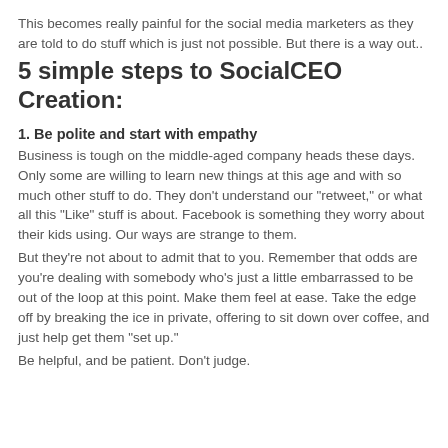This becomes really painful for the social media marketers as they are told to do stuff which is just not possible. But there is a way out..
5 simple steps to SocialCEO Creation:
1. Be polite and start with empathy
Business is tough on the middle-aged company heads these days. Only some are willing to learn new things at this age and with so much other stuff to do. They don't understand our "retweet," or what all this "Like" stuff is about. Facebook is something they worry about their kids using. Our ways are strange to them.
But they're not about to admit that to you. Remember that odds are you're dealing with somebody who's just a little embarrassed to be out of the loop at this point. Make them feel at ease. Take the edge off by breaking the ice in private, offering to sit down over coffee, and just help get them "set up."
Be helpful, and be patient. Don't judge.